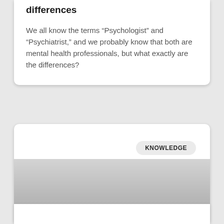differences
We all know the terms “Psychologist” and “Psychiatrist,” and we probably know that both are mental health professionals, but what exactly are the differences?
[Figure (photo): A card with a KNOWLEDGE badge label and a grey gradient image area below it]